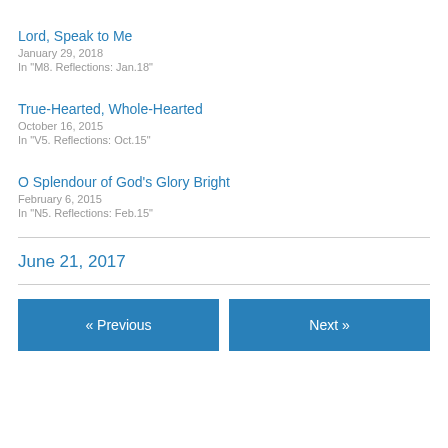Lord, Speak to Me
January 29, 2018
In "M8. Reflections: Jan.18"
True-Hearted, Whole-Hearted
October 16, 2015
In "V5. Reflections: Oct.15"
O Splendour of God's Glory Bright
February 6, 2015
In "N5. Reflections: Feb.15"
June 21, 2017
« Previous | Next »